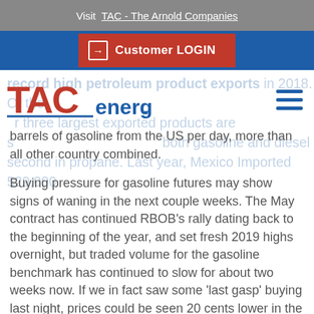Visit TAC - The Arnold Companies
Customer LOGIN
[Figure (logo): TAC energy logo — red TAC letters with blue underline and 'energy.' in blue text]
record high petroleum product exports in 2018. Of the [three largest exported products are s...] both gasoline and diesel [are] second in propane. Last year, Mexico imported 529,000 barrels of gasoline from the US per day, more than all other country combined.
Buying pressure for gasoline futures may show signs of waning in the next couple weeks. The May contract has continued RBOB's rally dating back to the beginning of the year, and set fresh 2019 highs overnight, but traded volume for the gasoline benchmark has continued to slow for about two weeks now. If we in fact saw some 'last gasp' buying last night, prices could be seen 20 cents lower in the short term.